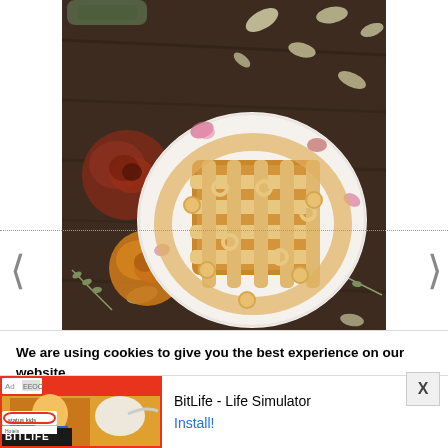[Figure (photo): Overhead photo of a decorative pie/pastry with lattice crust on a floral plate, surrounded by dried roses and flower petals on a dark wooden table. Navigation arrows on left and right sides with dotted horizontal line across middle.]
We are using cookies to give you the best experience on our website.
You can find out more about which cookies we are using or switch them off in settings.
[Figure (screenshot): Ad banner for BitLife - Life Simulator app with red background showing game imagery, Ad label, and Install button]